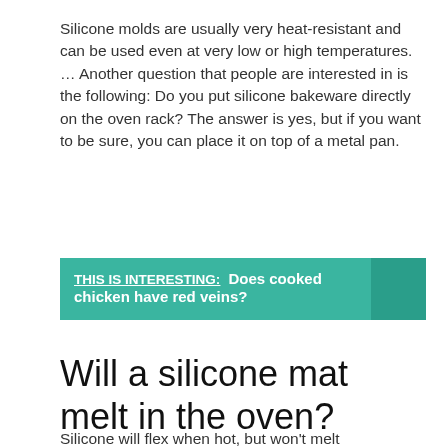Silicone molds are usually very heat-resistant and can be used even at very low or high temperatures. … Another question that people are interested in is the following: Do you put silicone bakeware directly on the oven rack? The answer is yes, but if you want to be sure, you can place it on top of a metal pan.
THIS IS INTERESTING: Does cooked chicken have red veins?
Will a silicone mat melt in the oven?
Silicone will flex when hot, but won't melt